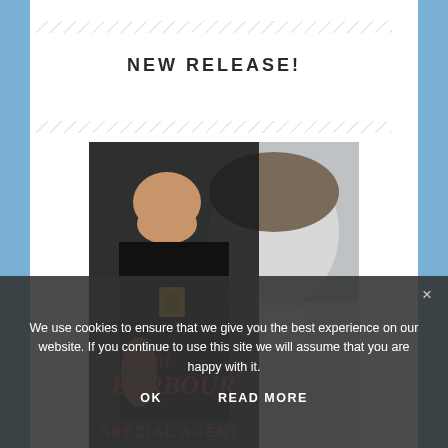[Figure (illustration): Diagonal hatching decorative line divider at the top]
NEW RELEASE!
[Figure (illustration): Diagonal hatching decorative line divider below title]
[Figure (photo): Book cover showing a woman in a black tank top with a badge necklace and a man in the background, with author name 'Mimi Barbour' and text 'Special Agent' visible]
We use cookies to ensure that we give you the best experience on our website. If you continue to use this site we will assume that you are happy with it.
OK    READ MORE